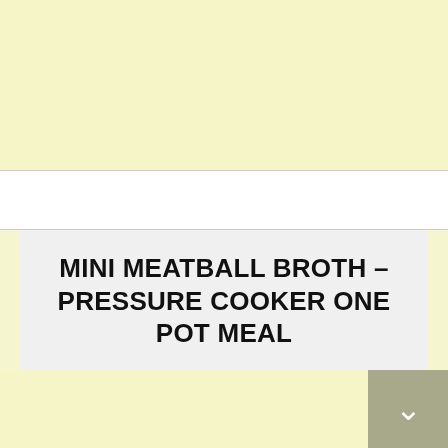[Figure (other): Yellow advertisement banner area at top of webpage]
≡  🔍
MINI MEATBALL BROTH – PRESSURE COOKER ONE POT MEAL